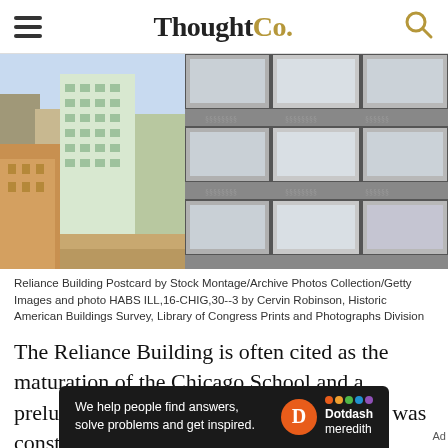ThoughtCo.
[Figure (photo): Two images of the Reliance Building: left is a colorized postcard showing the full building from street level; right is a black-and-white close-up of the building's facade showing ornate window details.]
Reliance Building Postcard by Stock Montage/Archive Photos Collection/Getty Images and photo HABS ILL,16-CHIG,30--3 by Cervin Robinson, Historic American Buildings Survey, Library of Congress Prints and Photographs Division
The Reliance Building is often cited as the maturation of the Chicago School and a prelude to future glass-clad skyscrapers. It was constructed in stages, around tenants with unexpired leases. The Reliance was begun by Burnham